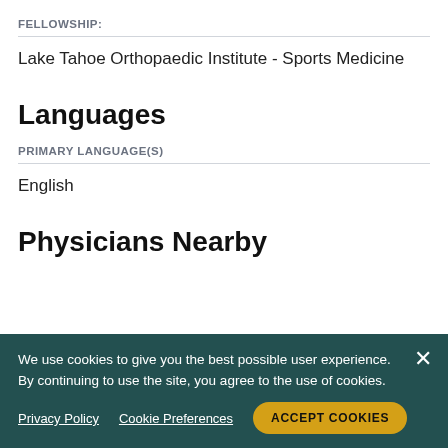FELLOWSHIP:
Lake Tahoe Orthopaedic Institute - Sports Medicine
Languages
PRIMARY LANGUAGE(S)
English
Physicians Nearby
We use cookies to give you the best possible user experience. By continuing to use the site, you agree to the use of cookies.
Privacy Policy
Cookie Preferences
ACCEPT COOKIES